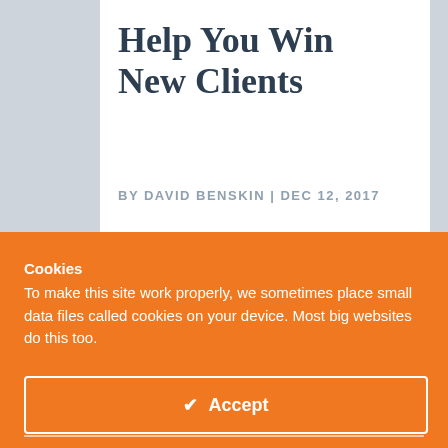Help You Win New Clients
BY DAVID BENSKIN | DEC 12, 2017
Cookies
To make this site work properly, we sometimes place small data files called cookies on your device. Most big websites do this too.
✔ Accept